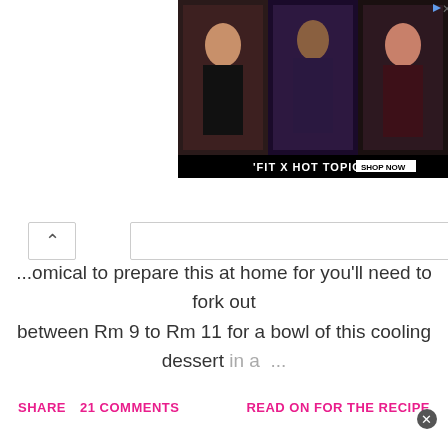[Figure (photo): Advertisement banner for 'FIT X HOT TOPIC' showing three music/fashion photos with a black bar at bottom reading 'FIT X HOT TOPIC  SHOP NOW']
...omical to prepare this at home for you'll need to fork out between Rm 9 to Rm 11 for a bowl of this cooling dessert in a ...
SHARE   21 COMMENTS                    READ ON FOR THE RECIPE
[Figure (logo): Powered by Blogger logo with Blogger 'B' icon]
© 2009 - 2020: No-Frills Recipes | All Rights Reserved